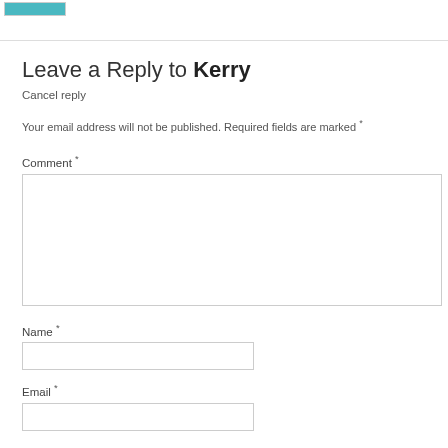[Figure (logo): Small logo/image in top-left corner]
Leave a Reply to Kerry
Cancel reply
Your email address will not be published. Required fields are marked *
Comment *
Name *
Email *